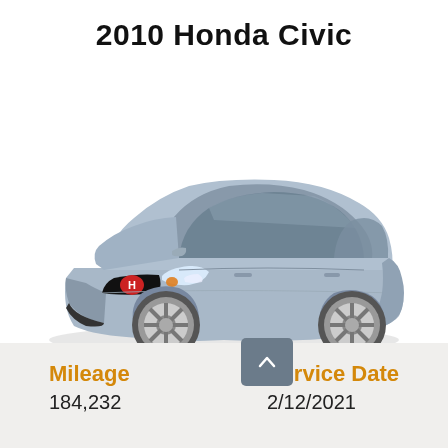2010 Honda Civic
[Figure (photo): Silver 2010 Honda Civic coupe, three-quarter front view on white background. ©EVOX IMAGES watermark at bottom right.]
©EVOX IMAGES
Mileage
184,232
Service Date
2/12/2021